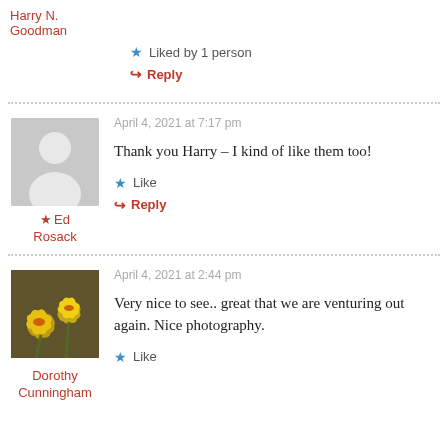Harry N. Goodman
Liked by 1 person
Reply
April 4, 2021 at 7:17 pm
Thank you Harry – I kind of like them too!
★ Ed Rosack
Like
Reply
[Figure (photo): Yellow daffodil flowers photo, avatar for Dorothy Cunningham]
April 4, 2021 at 2:44 pm
Very nice to see.. great that we are venturing out again. Nice photography.
Dorothy Cunningham
Like